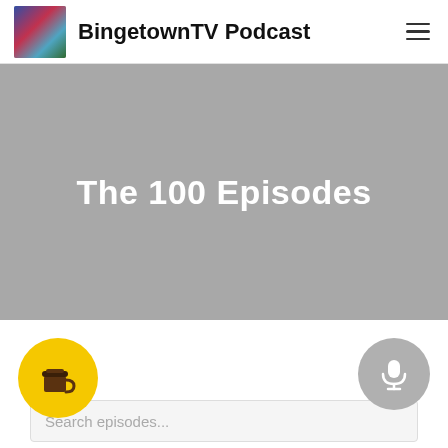BingetownTV Podcast
[Figure (screenshot): Hero banner with gray background showing the text 'The 100 Episodes' in white bold font]
The 100 Episodes
[Figure (logo): Yellow circular coffee cup button (Buy Me a Coffee icon)]
[Figure (logo): Gray circular microphone button]
Search episodes...